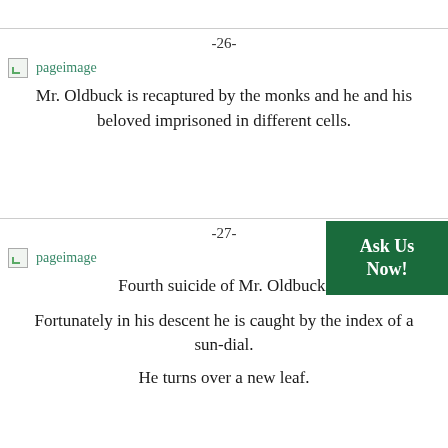-26-
[Figure (illustration): pageimage placeholder icon with green teal label text]
Mr. Oldbuck is recaptured by the monks and he and his beloved imprisoned in different cells.
-27-
[Figure (illustration): pageimage placeholder icon with green teal label text]
Fourth suicide of Mr. Oldbuck.
Fortunately in his descent he is caught by the index of a sun-dial.
He turns over a new leaf.